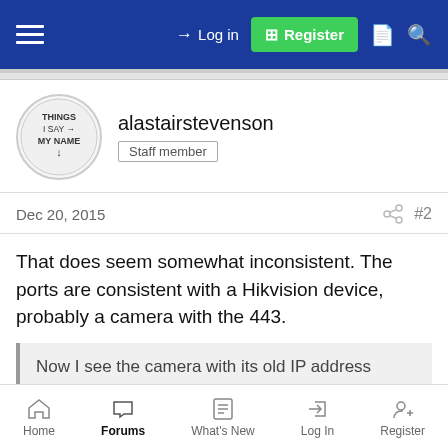Login  Register
alastairstevenson
Staff member
Dec 20, 2015  #2
That does seem somewhat inconsistent. The ports are consistent with a Hikvision device, probably a camera with the 443.
Now I see the camera with its old IP address
Does this mean that you changed the IP address, or is the camera set to use DHCP?
And is the outside location still on your office network? I'm
Home  Forums  What's New  Log In  Register